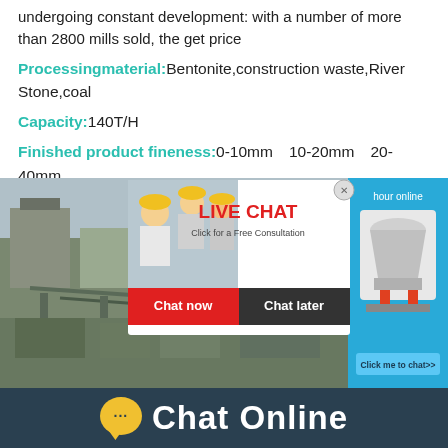undergoing constant development: with a number of more than 2800 mills sold, the get price
Processingmaterial:Bentonite,construction waste,River Stone,coal
Capacity:140T/H
Finished product fineness:0-10mm、10-20mm、20-40mm
[Figure (photo): Industrial facility with conveyor belts and buildings, overlaid with a live chat popup showing workers in hard hats and chat now/chat later buttons. Right side shows a cone crusher machine on blue background.]
Chat Online